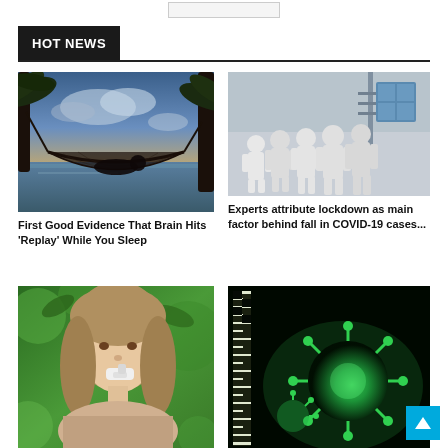HOT NEWS
[Figure (photo): Silhouette of a person lying in a hammock on a tropical beach at sunset with palm trees and ocean in background]
First Good Evidence That Brain Hits ‘Replay’ While You Sleep
[Figure (photo): Group of people in white hazmat/protective suits standing near a building, viewed from behind]
Experts attribute lockdown as main factor behind fall in COVID-19 cases...
[Figure (photo): Woman using an inhaler, surrounded by green leaves in the background]
[Figure (photo): Microscopy image showing green glowing coronavirus particle against dark background with a ruler scale bar]